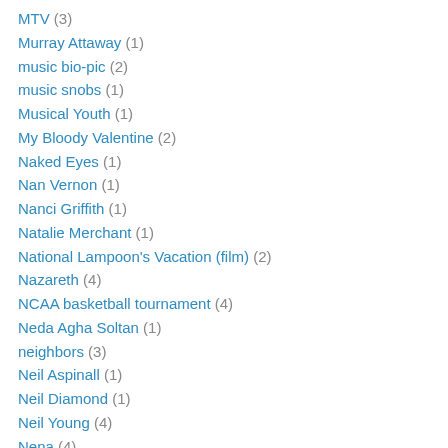MTV (3)
Murray Attaway (1)
music bio-pic (2)
music snobs (1)
Musical Youth (1)
My Bloody Valentine (2)
Naked Eyes (1)
Nan Vernon (1)
Nanci Griffith (1)
Natalie Merchant (1)
National Lampoon's Vacation (film) (2)
Nazareth (4)
NCAA basketball tournament (4)
Neda Agha Soltan (1)
neighbors (3)
Neil Aspinall (1)
Neil Diamond (1)
Neil Young (4)
Nena (4)
Neneh Cherry (3)